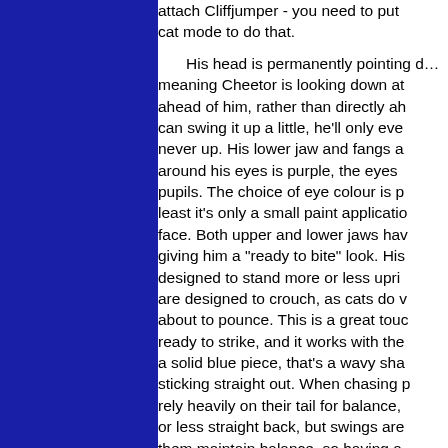attach Cliffjumper - you need to put cat mode to do that.
His head is permanently pointing down, meaning Cheetor is looking down at the ground ahead of him, rather than directly ahead. You can swing it up a little, he'll only ever look down, never up. His lower jaw and fangs are white, the area around his eyes is purple, the eyes orange with black pupils. The choice of eye colour is puzzling, but at least it's only a small paint application on his face. Both upper and lower jaws have teeth, giving him a "ready to bite" look. His front legs are designed to stand more or less upright, while his hind legs are designed to crouch, as cats do when they're about to pounce. This is a great touch, making him look ready to strike, and it works with the tail. The tail is a solid blue piece, that's a wavy shape with the tip sticking straight out. When chasing prey, cheetahs rely heavily on their tail for balance, it hangs more or less straight back, but swings around to help them maintain balance, so having a tail that sticks out there again helps sell Cheetor as a cheetah.
Cheetor's "flight mode" which has